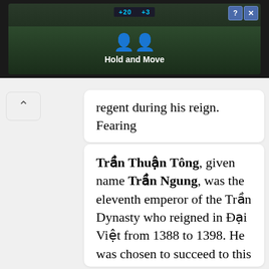[Figure (screenshot): Advertisement banner showing a dark outdoor/gaming scene with 'Hold and Move' text, score display (+20, +3), two person icons, close button and help button in top right corner]
regent during his reign. Fearing
Trần Thuận Tông, given name Trần Ngung, was the eleventh emperor of the Trần Dynasty who reigned in Đại Việt from 1388 to 1398. He was chosen to succeed to this position by his father, the Retired Emperor Trần Nghệ Tông, after Nghệ Tông decided to dethrone and force Trần Phế Đế to commit suicide. Although